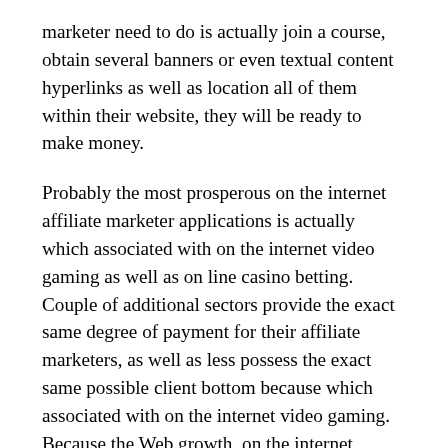marketer need to do is actually join a course, obtain several banners or even textual content hyperlinks as well as location all of them within their website, they will be ready to make money.
Probably the most prosperous on the internet affiliate marketer applications is actually which associated with on the internet video gaming as well as on line casino betting. Couple of additional sectors provide the exact same degree of payment for their affiliate marketers, as well as less possess the exact same possible client bottom because which associated with on the internet video gaming. Because the Web growth, on the internet betting is becoming small lacking a company trend. Vast amounts of bucks happen to be produced 12 months upon 12 months through probably the most thrilling as well as person on the internet sectors. The actual on line casino affiliate marketer plan enables just